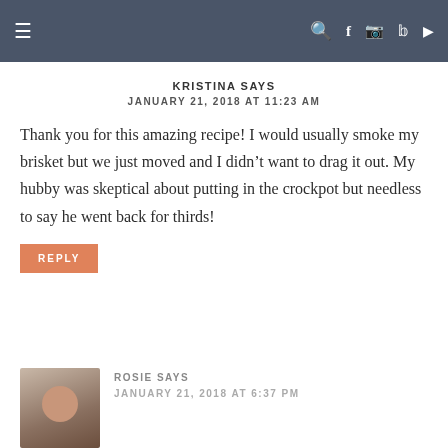≡  🔍 f 📷 p ▶
KRISTINA SAYS
JANUARY 21, 2018 AT 11:23 AM
Thank you for this amazing recipe! I would usually smoke my brisket but we just moved and I didn't want to drag it out. My hubby was skeptical about putting in the crockpot but needless to say he went back for thirds!
REPLY
ROSIE SAYS
JANUARY 21, 2018 AT 6:37 PM